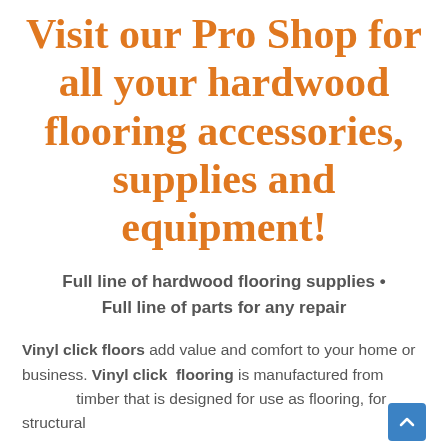Visit our Pro Shop for all your hardwood flooring accessories, supplies and equipment!
Full line of hardwood flooring supplies • Full line of parts for any repair
Vinyl click floors add value and comfort to your home or business. Vinyl click flooring is manufactured from timber that is designed for use as flooring, for structural